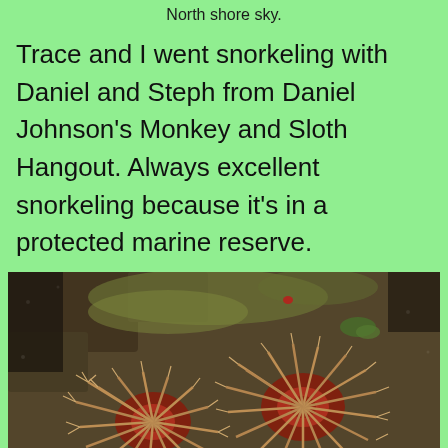North shore sky.
Trace and I went snorkeling with Daniel and Steph from Daniel Johnson's Monkey and Sloth Hangout. Always excellent snorkeling because it's in a protected marine reserve.
[Figure (photo): Close-up underwater photo of two spiny sea urchins or bristle worms with reddish-brown radial patterns and white spines, resting on a rocky reef surface with algae and coral.]